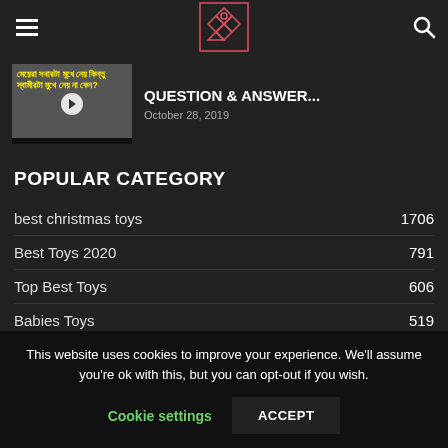Navigation header with hamburger menu, logo, and search icon
[Figure (screenshot): Video thumbnail with Bengali text and a play button circle]
QUESTION & ANSWER...
October 28, 2019
POPULAR CATEGORY
best christmas toys   1706
Best Toys 2020   791
Top Best Toys   606
Babies Toys   519
Unboxing New Toys   428
This website uses cookies to improve your experience. We'll assume you're ok with this, but you can opt-out if you wish.
Cookie settings   ACCEPT